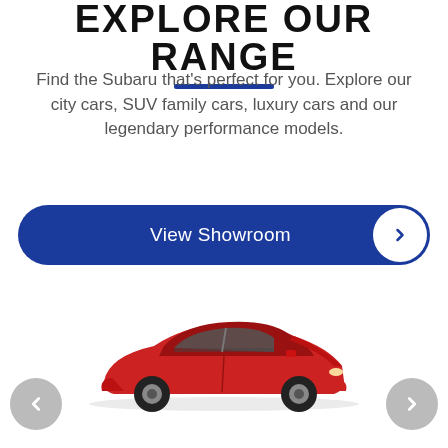EXPLORE OUR RANGE
Find the Subaru that's perfect for you. Explore our city cars, SUV family cars, luxury cars and our legendary performance models.
[Figure (other): Blue 'View Showroom' button with rounded pill shape and white arrow chevron circle on the right]
[Figure (photo): Red Subaru sedan car shown from the side on white background, with navigation arrows on left and right below]